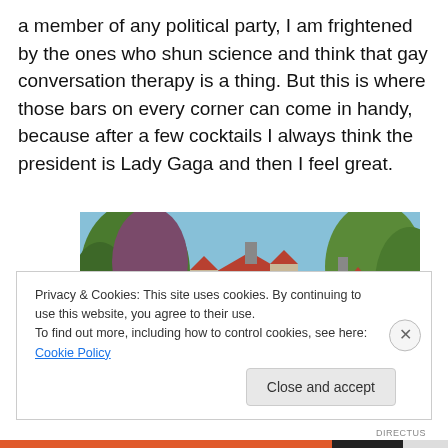a member of any political party, I am frightened by the ones who shun science and think that gay conversation therapy is a thing. But this is where those bars on every corner can come in handy, because after a few cocktails I always think the president is Lady Gaga and then I feel great.
[Figure (photo): Photograph of a large Victorian-style stone mansion with a red/terracotta roof, multiple gabled dormers, bay windows, and surrounded by trees. Blue sky visible in the background.]
Privacy & Cookies: This site uses cookies. By continuing to use this website, you agree to their use.
To find out more, including how to control cookies, see here: Cookie Policy
Close and accept